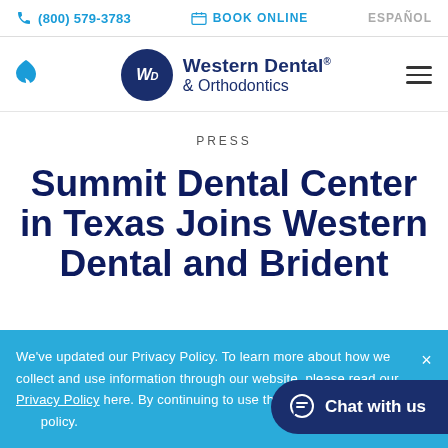(800) 579-3783  BOOK ONLINE  ESPAÑOL
[Figure (logo): Western Dental & Orthodontics logo with circular navy emblem showing WD initials]
PRESS
Summit Dental Center in Texas Joins Western Dental and Brident
We've updated our Privacy Policy. To learn more about how we collect and use information through our website, please read our Privacy Policy here. By continuing to use this site, you agree to this policy.
Chat with us